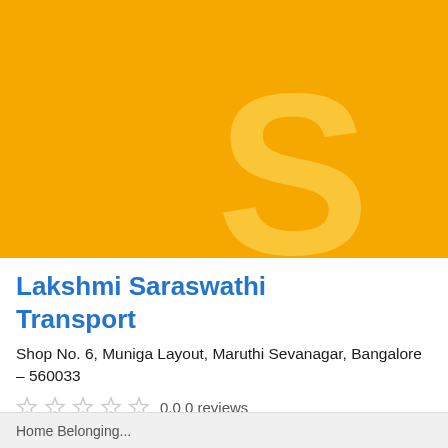[Figure (logo): Yellow/amber background with a large semi-transparent letter S watermark, serving as the business logo placeholder for Lakshmi Saraswathi Transport]
Lakshmi Saraswathi Transport
Shop No. 6, Muniga Layout, Maruthi Sevanagar, Bangalore - 560033
0.0 0 reviews
Home Belonging...